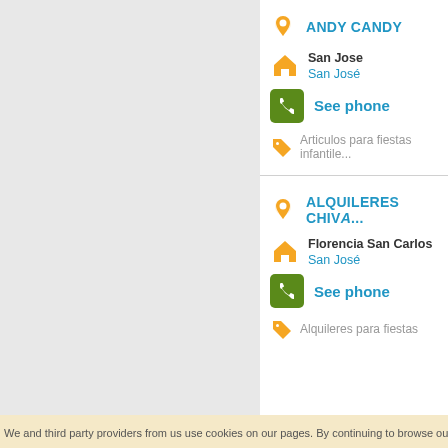ANDY CANDY
San Jose
San José
See phone
Articulos para fiestas infantile...
ALQUILERES CHIVA...
Florencia San Carlos
San José
See phone
Alquileres para fiestas
We and third party providers from us use cookies on our pages. By continuing to browse our...